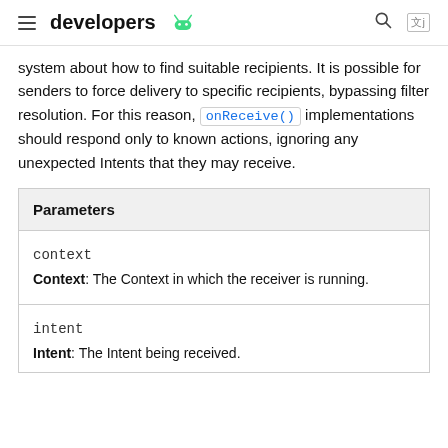developers [android logo]
system about how to find suitable recipients. It is possible for senders to force delivery to specific recipients, bypassing filter resolution. For this reason, onReceive() implementations should respond only to known actions, ignoring any unexpected Intents that they may receive.
| Parameters |
| --- |
| context | Context: The Context in which the receiver is running. |
| intent | Intent: The Intent being received. |